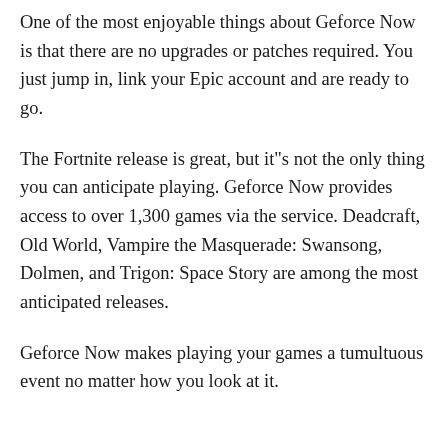One of the most enjoyable things about Geforce Now is that there are no upgrades or patches required. You just jump in, link your Epic account and are ready to go.
The Fortnite release is great, but it"s not the only thing you can anticipate playing. Geforce Now provides access to over 1,300 games via the service. Deadcraft, Old World, Vampire the Masquerade: Swansong, Dolmen, and Trigon: Space Story are among the most anticipated releases.
Geforce Now makes playing your games a tumultuous event no matter how you look at it.